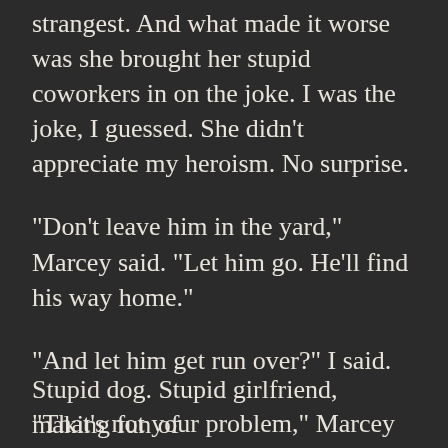strangest. And what made it worse was she brought her stupid coworkers in on the joke. I was the joke, I guessed. She didn’t appreciate my heroism. No surprise.
“Don’t leave him in the yard,” Marcey said. “Let him go. He’ll find his way home.”
“And let him get run over?” I said.
“That’s not your problem,” Marcey said. “Someone could be looking for him.”
I sighed.
Stupid dog. Stupid girlfriend, making fun of